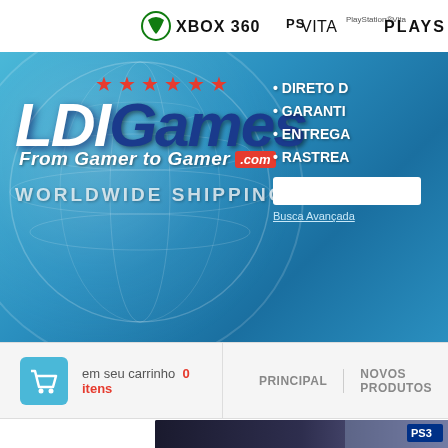[Figure (screenshot): Top navigation bar showing gaming platform logos: Xbox 360 circle icon, XBOX 360 text, PSVITA text, PLAYS text (partially cropped)]
[Figure (screenshot): LDI Games banner with blue globe background. Logo shows 'LDIGames' with red stars above, tagline 'From Gamer to Gamer .com', 'WORLDWIDE SHIPPING' text on left. Right side shows bullet points: DIRETO D, GARANTI, ENTREGA, RASTREA (all partially cropped), a search box, and 'Busca Avançada' link]
[Figure (screenshot): Cart bar showing shopping cart icon (teal), text 'em seu carrinho 0 itens' with '0 itens' in red. Navigation items: PRINCIPAL, NOVOS PRODUTOS (partially cropped)]
[Figure (screenshot): Grand Theft Auto promotional banner showing 'grand' text in stylized font, character image on right, PS3 label badge in upper right corner]